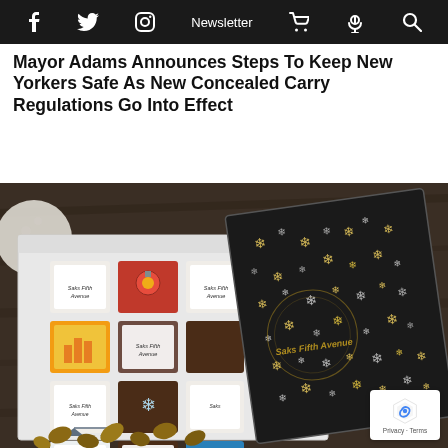f  [twitter]  [instagram]  Newsletter  [cart]  [podcast]  [search]
Mayor Adams Announces Steps To Keep New Yorkers Safe As New Concealed Carry Regulations Go Into Effect
[Figure (photo): Photo of an open Saks Fifth Avenue branded chocolate box with decorative holiday chocolates, alongside the ornate black and gold snowflake-patterned box lid, on a dark wooden surface with scattered nuts/cacao beans and a white decorative ball in background.]